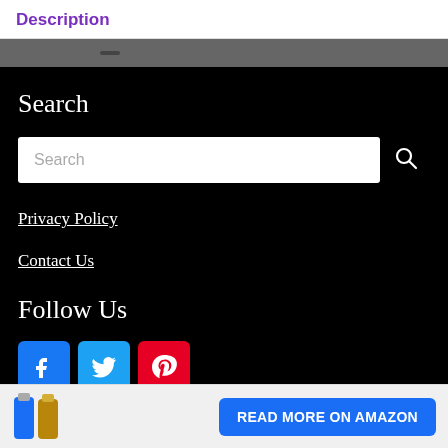Description
[Figure (screenshot): Dark navigation bar with a button element visible]
Search
[Figure (screenshot): Search input box with placeholder text 'Search' and a magnifying glass icon]
Privacy Policy
Contact Us
Follow Us
[Figure (infographic): Social media icons: Facebook (blue), Twitter (light blue), Pinterest (red)]
[Figure (photo): Product image of two water bottles, one blue and one gold/silver, with a 'READ MORE ON AMAZON' button]